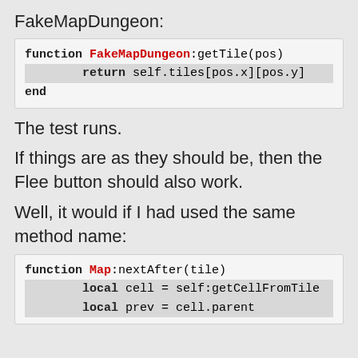FakeMapDungeon:
[Figure (screenshot): Code block showing: function FakeMapDungeon:getTile(pos) / return self.tiles[pos.x][pos.y] / end]
The test runs.
If things are as they should be, then the Flee button should also work.
Well, it would if I had used the same method name:
[Figure (screenshot): Code block showing: function Map:nextAfter(tile) / local cell = self:getCellFromTile... / local prev = cell.parent]